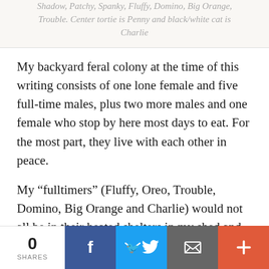Shadow, Patchy, Spanky, Fluffy, Domino, Big Orange, Trouble. Center tortie is Penny and black/white cat is Charlie
My backyard feral colony at the time of this writing consists of one lone female and five full-time males, plus two more males and one female who stop by here most days to eat. For the most part, they live with each other in peace.
My “fulltimers” (Fluffy, Oreo, Trouble, Domino, Big Orange and Charlie) would not all be in their heated shelters in my shed and my yard on this COLD windy night. They would NEVER live in
0 SHARES | Facebook | Twitter | Email | +